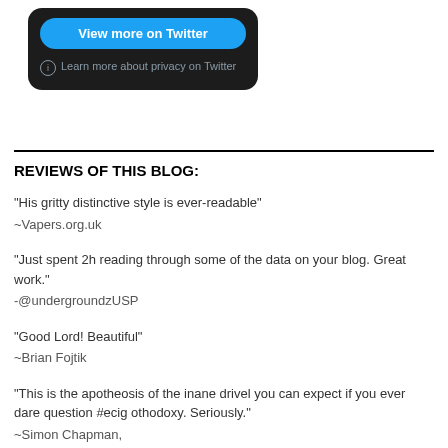[Figure (screenshot): Twitter widget with dark background showing 'View more on Twitter' blue button and 'Learn more about privacy on Twitter' text with info icon]
REVIEWS OF THIS BLOG:
"His gritty distinctive style is ever-readable"
~Vapers.org.uk
"Just spent 2h reading through some of the data on your blog. Great work."
-@undergroundzUSP
"Good Lord! Beautiful"
~Brian Fojtik
"This is the apotheosis of the inane drivel you can expect if you ever dare question #ecig othodoxy. Seriously."
~Simon Chapman,